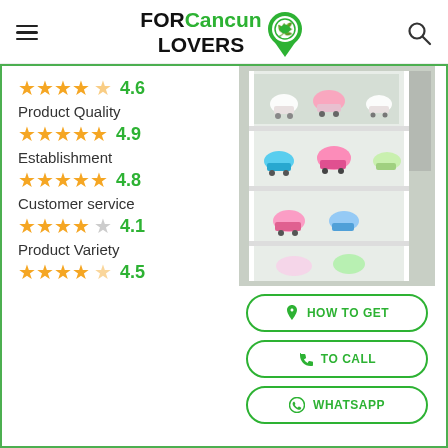FOR Cancun LOVERS [logo]
4.6
Product Quality
4.9
Establishment
4.8
Customer service
4.1
Product Variety
4.5
[Figure (photo): Interior of a roller skate shop with white shelving displaying colorful roller skates]
HOW TO GET
TO CALL
WHATSAPP